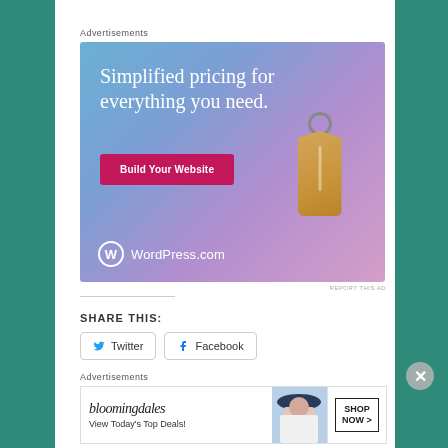Advertisements
[Figure (illustration): WordPress.com advertisement banner. Blue-purple gradient background with a price tag graphic. Text reads 'Simplified pricing for everything you need.' with a pink 'Build Your Website' button and the WordPress.com logo at bottom left.]
REPORT THIS AD
SHARE THIS:
Twitter
Facebook
Advertisements
[Figure (illustration): Bloomingdale's advertisement banner. Shows 'bloomingdales' logo in script font, 'View Today's Top Deals!' text, an image of a woman with a hat, and a 'SHOP NOW >' button in a bordered box.]
REPORT THIS AD